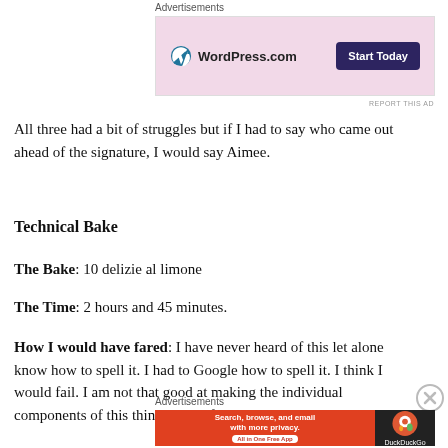[Figure (other): WordPress.com advertisement banner with pink background, WordPress logo, and 'Start Today' dark blue button]
All three had a bit of struggles but if I had to say who came out ahead of the signature, I would say Aimee.
Technical Bake
The Bake: 10 delizie al limone
The Time: 2 hours and 45 minutes.
How I would have fared: I have never heard of this let alone know how to spell it. I had to Google how to spell it. I think I would fail. I am not that good at making the individual components of this thing except for
[Figure (other): DuckDuckGo advertisement banner: orange left side with 'Search, browse, and email with more privacy. All in One Free App' and dark right side with DuckDuckGo logo]